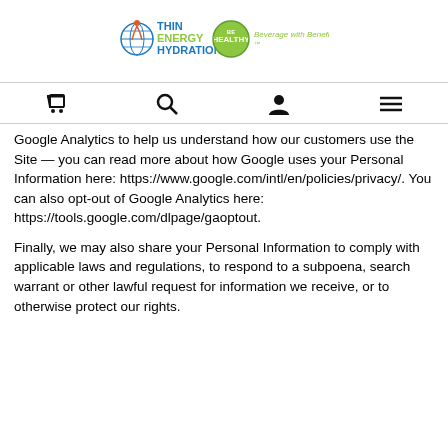[Figure (logo): Thin Energy Hydration logo with Be Healthy badge and 'Beverage with Benefits' tagline]
Google Analytics to help us understand how our customers use the Site — you can read more about how Google uses your Personal Information here: https://www.google.com/intl/en/policies/privacy/. You can also opt-out of Google Analytics here: https://tools.google.com/dlpage/gaoptout.
Finally, we may also share your Personal Information to comply with applicable laws and regulations, to respond to a subpoena, search warrant or other lawful request for information we receive, or to otherwise protect our rights.